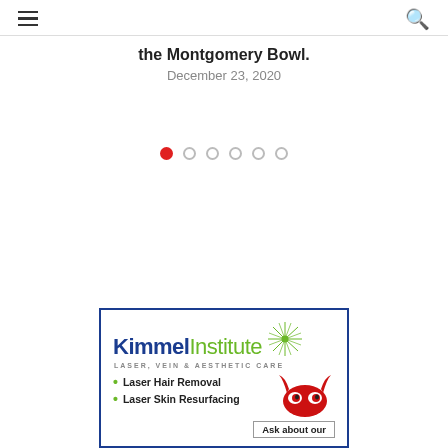☰ (menu icon) | 🔍 (search icon)
the Montgomery Bowl.
December 23, 2020
[Figure (other): Carousel pagination dots: 1 active (red filled), 5 inactive (empty circles)]
[Figure (advertisement): Kimmel Institute advertisement. Logo: 'Kimmel' in blue bold, 'Institute' in green. Tagline: LASER, VEIN & AESTHETIC CARE. Bullet points: Laser Hair Removal, Laser Skin Resurfacing. Box: Ask about our. Red owl/devil mascot graphic top right.]